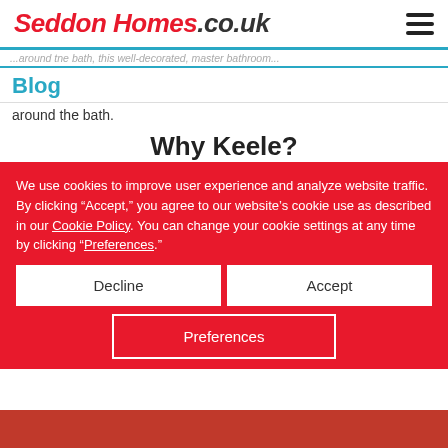Seddon Homes.co.uk
...around the bath.
Blog
Why Keele?
The Hawthorns in Keele is a great location for families.
Set in the picturesque grounds of a property formerly owned by the local aristocracy, this is a semi-rural development yet just 6 miles from the M6. And Seddon Homes has a range of buying methods available, including Help to Buy and Sale Away, to help you purchase your dream home. Our Sales Advisors can put you in touch with an Independent Financial Advisor.
We use cookies to improve user experience and analyze website traffic. By clicking “Accept,” you agree to our website’s cookie use as described in our Cookie Policy. You can change your cookie settings at any time by clicking “Preferences.”
Decline
Accept
Preferences